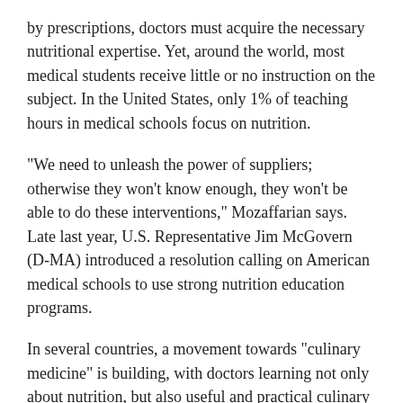by prescriptions, doctors must acquire the necessary nutritional expertise. Yet, around the world, most medical students receive little or no instruction on the subject. In the United States, only 1% of teaching hours in medical schools focus on nutrition.
“We need to unleash the power of suppliers; otherwise they won’t know enough, they won’t be able to do these interventions,” Mozaffarian says. Late last year, U.S. Representative Jim McGovern (D-MA) introduced a resolution calling on American medical schools to use strong nutrition education programs.
In several countries, a movement towards “culinary medicine” is building, with doctors learning not only about nutrition, but also useful and practical culinary skills. Chief Medical Officer Robert Graham, MD, practices medicine and teaches health practitioners plant-based cuisine in New York City.